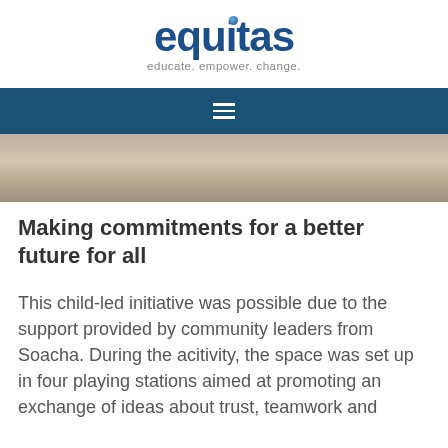[Figure (logo): Equitas logo with dark blue bold text, a small blue sphere dot above the 'i', and tagline 'educate. empower. change.' below in gray]
[Figure (photo): Navigation bar with hamburger menu icon (three horizontal white lines) on dark blue background]
[Figure (photo): Partial outdoor photo showing a concrete or asphalt ground surface with neutral tones]
Making commitments for a better future for all
This child-led initiative was possible due to the support provided by community leaders from Soacha. During the acitivity, the space was set up in four playing stations aimed at promoting an exchange of ideas about trust, teamwork and